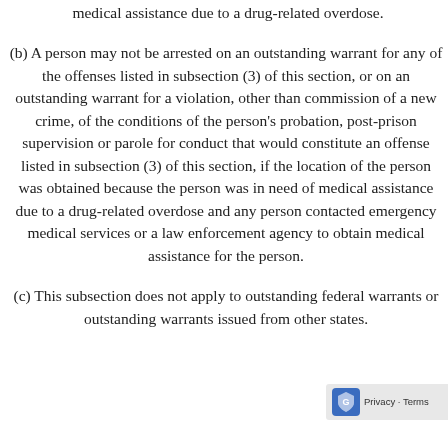medical assistance due to a drug-related overdose.
(b) A person may not be arrested on an outstanding warrant for any of the offenses listed in subsection (3) of this section, or on an outstanding warrant for a violation, other than commission of a new crime, of the conditions of the person’s probation, post-prison supervision or parole for conduct that would constitute an offense listed in subsection (3) of this section, if the location of the person was obtained because the person was in need of medical assistance due to a drug-related overdose and any person contacted emergency medical services or a law enforcement agency to obtain medical assistance for the person.
(c) This subsection does not apply to outstanding federal warrants or outstanding warrants issued from other states.